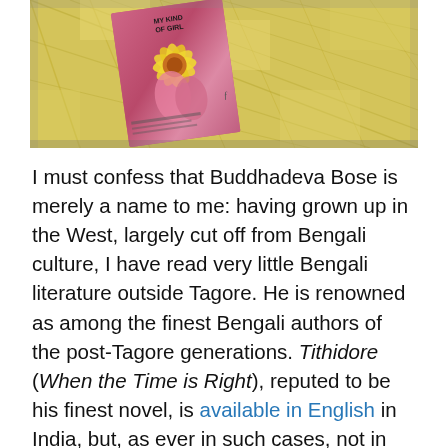[Figure (photo): A book titled 'My Kind of Girl' lying on a yellow checkered tablecloth. The book cover is pink/magenta with floral decorations.]
I must confess that Buddhadeva Bose is merely a name to me: having grown up in the West, largely cut off from Bengali culture, I have read very little Bengali literature outside Tagore. He is renowned as among the finest Bengali authors of the post-Tagore generations. Tithidore (When the Time is Right), reputed to be his finest novel, is available in English in India, but, as ever in such cases, not in the West. (I picked up the English translation when I was in India earlier this year, although I haven't got round to reading it yet.) My Kind of Girl, written in 1951, is a